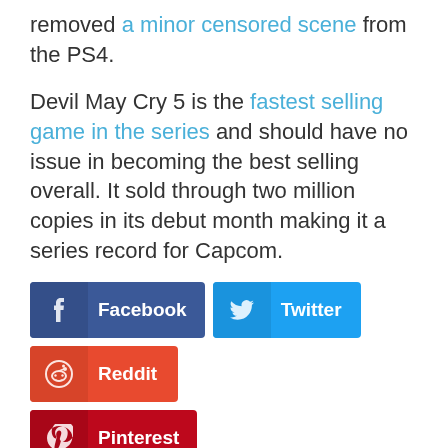removed a minor censored scene from the PS4.
Devil May Cry 5 is the fastest selling game in the series and should have no issue in becoming the best selling overall. It sold through two million copies in its debut month making it a series record for Capcom.
[Figure (infographic): Social share buttons: Facebook, Twitter, Reddit, Pinterest]
Related Stories
Capcom Fighting Collection Review – A Special Treat for Fighting Game Fans